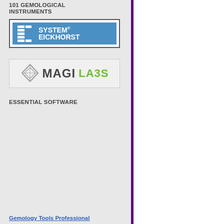101 GEMOLOGICAL INSTRUMENTS
[Figure (logo): System Eickhorst logo — blue background with white SE icon and SYSTEM EICKHORST text]
[Figure (logo): Magi Labs logo — diamond icon and MAGI in dark grey with LABS in green]
ESSENTIAL SOFTWARE
Gemology Tools Professional